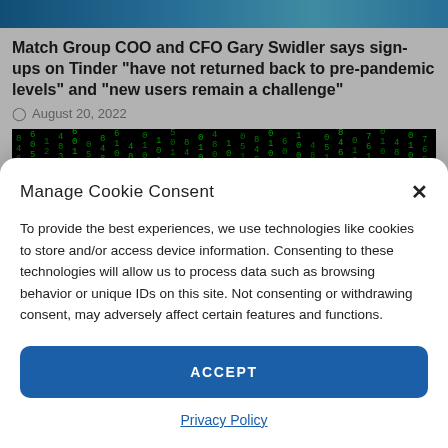[Figure (photo): Blue digital/tech themed banner image at top]
Match Group COO and CFO Gary Swidler says sign-ups on Tinder “have not returned back to pre-pandemic levels” and “new users remain a challenge”
August 20, 2022
[Figure (photo): Matrix-style digital rain image with green numbers on black background]
Manage Cookie Consent
To provide the best experiences, we use technologies like cookies to store and/or access device information. Consenting to these technologies will allow us to process data such as browsing behavior or unique IDs on this site. Not consenting or withdrawing consent, may adversely affect certain features and functions.
ACCEPT
Privacy Policy